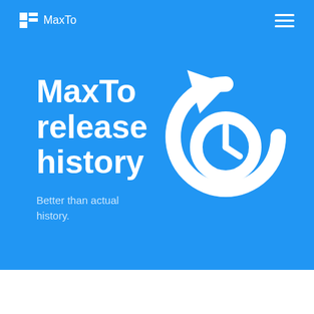MaxTo
MaxTo release history
Better than actual history.
[Figure (illustration): White clock/history icon showing a clock face with a counterclockwise arrow, indicating history or time travel]